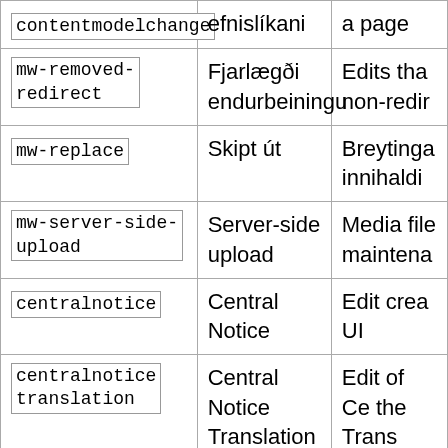| contentmodelchange | efnislíkani | a page |
| mw-removed-redirect | Fjarlægði endurbeiningu | Edits tha non-redir |
| mw-replace | Skipt út | Breytinga innihaldi |
| mw-server-side-upload | Server-side upload | Media file maintena |
| centralnotice | Central Notice | Edit crea UI |
| centralnotice translation | Central Notice Translation | Edit of Ce the Trans |
| visualeditor-needcheck | Sýnileg breyting: Athuga | Breyting sem kerfi hefur ver |
| visualeditor | Sýnileg breyting | Notandin |